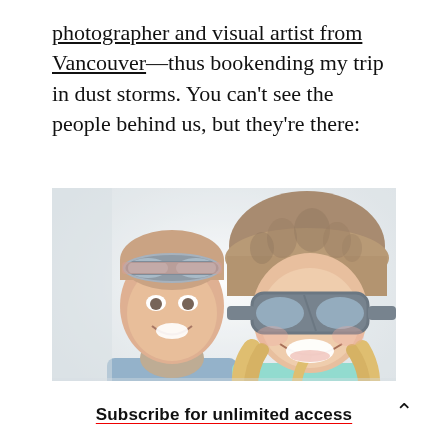photographer and visual artist from Vancouver—thus bookending my trip in dust storms. You can't see the people behind us, but they're there:
[Figure (photo): Selfie photo of two people smiling in a dusty/foggy white environment. The man on the left wears a blue fleece and a tan neck gaiter, with goggles pushed up on his forehead. The woman on the right wears a brown furry hat with goggles on her eyes and a teal top. Both are smiling broadly. Background is a white hazy dust storm.]
Subscribe for unlimited access